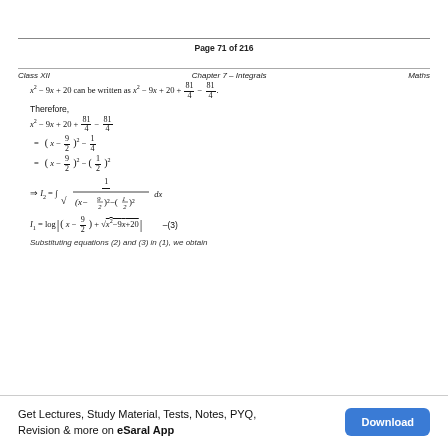Page 71 of 216
Class XII    Chapter 7 – Integrals    Maths
x² – 9x + 20 can be written as x² – 9x + 20 + 81/4 – 81/4.
Therefore,
Substituting equations (2) and (3) in (1), we obtain
Get Lectures, Study Material, Tests, Notes, PYQ, Revision & more on eSaral App